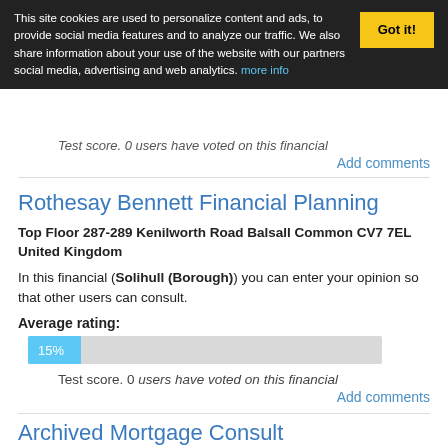This site cookies are used to personalize content and ads, to provide social media features and to analyze traffic. We also share information about your use of the website with our partners social media, advertising and web analytics. more info
Test score. 0 users have voted on this financial
Add comments
Rothesay Bennett Financial Planning
Top Floor 287-289 Kenilworth Road Balsall Common CV7 7EL United Kingdom
In this financial (Solihull (Borough)) you can enter your opinion so that other users can consult.
Average rating:
[Figure (bar-chart): Average rating progress bar]
Test score. 0 users have voted on this financial
Add comments
Archived Mortgage Consult...